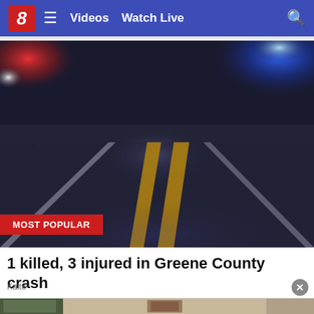8  Videos  Watch Live
[Figure (photo): Blurred photo of a road at night with red and blue emergency lights reflecting off wet asphalt, with yellow and white centerline markings visible]
MOST POPULAR
1 killed, 3 injured in Greene County crash
Kait8
[Figure (photo): Partial bottom strip showing an indoor room scene, partially cut off]